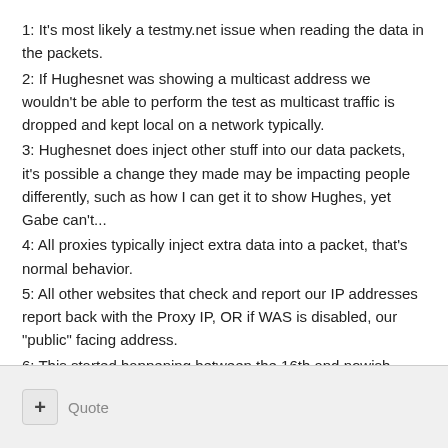1: It's most likely a testmy.net issue when reading the data in the packets.
2: If Hughesnet was showing a multicast address we wouldn't be able to perform the test as multicast traffic is dropped and kept local on a network typically.
3: Hughesnet does inject other stuff into our data packets, it's possible a change they made may be impacting people differently, such as how I can get it to show Hughes, yet Gabe can't...
4: All proxies typically inject extra data into a packet, that's normal behavior.
5: All other websites that check and report our IP addresses report back with the Proxy IP, OR if WAS is disabled, our "public" facing address.
6: This started happening between the 16th and nowish - has there been any changes at testmy.net to cause this?
+ Quote